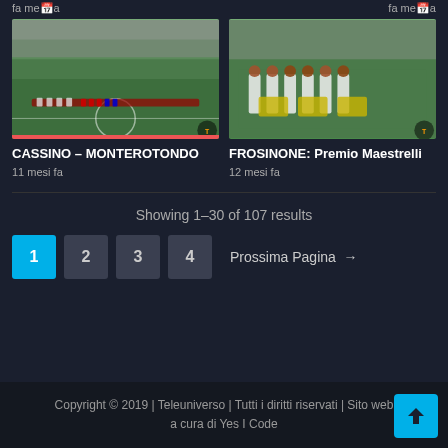fa   fa
[Figure (photo): Football match players lined up on a green field, viewed from a distance]
[Figure (photo): Award ceremony with people holding trophies on a green field, Frosinone Premio Maestrelli]
CASSINO – MONTEROTONDO
11 mesi fa
FROSINONE: Premio Maestrelli
12 mesi fa
Showing 1–30 of 107 results
1  2  3  4  Prossima Pagina →
Copyright © 2019 | Teleuniverso | Tutti i diritti riservati | Sito web a cura di Yes I Code